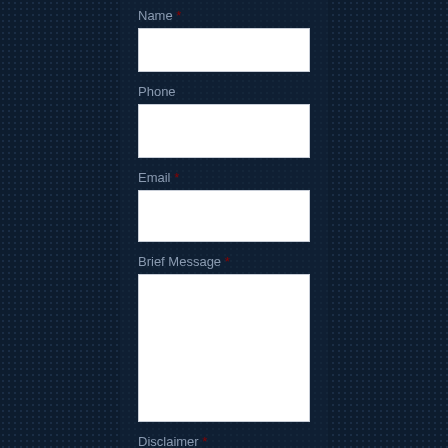Name *
[Figure (other): Empty text input field for Name]
Phone
[Figure (other): Empty text input field for Phone]
Email *
[Figure (other): Empty text input field for Email]
Brief Message *
[Figure (other): Large empty textarea field for Brief Message]
Disclaimer *